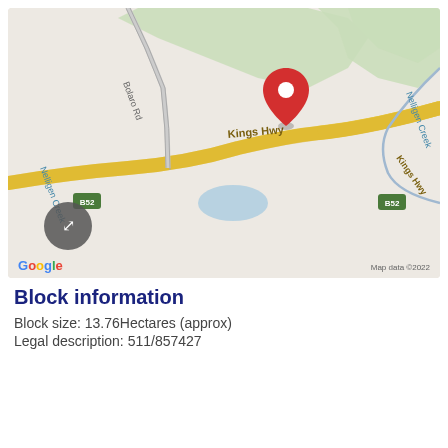[Figure (map): Google Maps satellite/road view showing Kings Hwy near Nelligen Creek with a red location pin marker. Shows Bolaro Rd, B52 route markers, Nelligen Creek labels, green tree area, blue water body, and Google logo with 'Map data ©2022' attribution.]
Block information
Block size: 13.76Hectares (approx)
Legal description: 511/857427